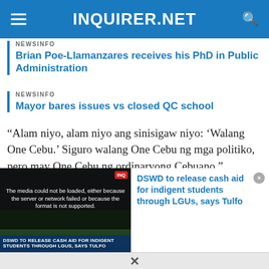INQUIRER.NET
NEWSINFO
Brian Poe-Llamanzares receives his PhD in Public Administration
NEWSINFO
Mayor bares issues vs closed QC school
“Alam niyo, alam niyo ang sinisigaw niyo: ‘Walang One Cebu.’ Siguro walang One Cebu ng mga politiko, pero may One Cebu ng ordinaryong Cebuano,” Robredo said to the delight of the crowd who started to chant “Walang One Cebu,” which
[Figure (screenshot): Video player showing error message: The media could not be loaded, either because the server or network failed or because the format is not supported. Overlay caption: DSWD TO RELEASE CASH AID FOR INDIGENT STUDENTS THROUGH LGUs, SAYS TULFO. Sidebar with title: DSWD to release cash aid for indigent students through LGUs, says Tulfo]